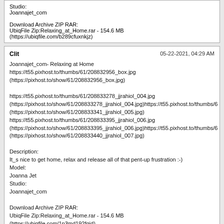Studio:
Joannajet_com

Download Archive ZIP RAR:
UbiqFile Zip:Relaxing_at_Home.rar - 154.6 MB
(https://ubiqfile.com/b289cfuxnkjz)
Clit   05-22-2021, 04:29 AM

Joannajet_com- Relaxing at Home
https://t55.pixhost.to/thumbs/61/208832956_box.jpg
(https://pixhost.to/show/61/208832956_box.jpg)

https://t55.pixhost.to/thumbs/61/208833278_jjrahiol_004.jpg
(https://pixhost.to/show/61/208833278_jjrahiol_004.jpg)https://t55.pixhost.to/thumbs/6
(https://pixhost.to/show/61/208833341_jjrahiol_005.jpg)
https://t55.pixhost.to/thumbs/61/208833395_jjrahiol_006.jpg
(https://pixhost.to/show/61/208833395_jjrahiol_006.jpg)https://t55.pixhost.to/thumbs/6
(https://pixhost.to/show/61/208833440_jjrahiol_007.jpg)

Description:
It_s nice to get home, relax and release all of that pent-up frustration :-)
Model:
Joanna Jet
Studio:
Joannajet_com

Download Archive ZIP RAR:
UbiqFile Zip:Relaxing_at_Home.rar - 154.6 MB
(https://ubiqfile.com/1p3md192fqjd)
Clit   05-22-2021, 04:32 AM

Joannajet_com- Pinky Peachy
https://t55.pixhost.to/thumbs/3/207705994_box.jpg
(https://pixhost.to/show/3/207705994_box.jpg)